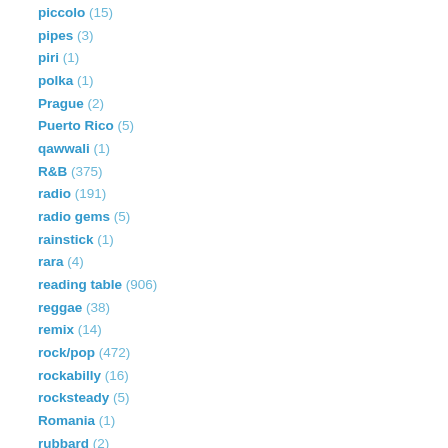piccolo (15)
pipes (3)
piri (1)
polka (1)
Prague (2)
Puerto Rico (5)
qawwali (1)
R&B (375)
radio (191)
radio gems (5)
rainstick (1)
rara (4)
reading table (906)
reggae (38)
remix (14)
rock/pop (472)
rockabilly (16)
rocksteady (5)
Romania (1)
rubbard (2)